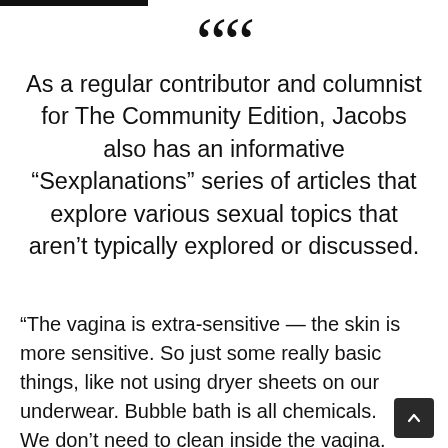“As a regular contributor and columnist for The Community Edition, Jacobs also has an informative “Sexplanations” series of articles that explore various sexual topics that aren’t typically explored or discussed.
“The vagina is extra-sensitive — the skin is more sensitive. So just some really basic things, like not using dryer sheets on our underwear. Bubble bath is all chemicals. We don’t need to clean inside the vagina.